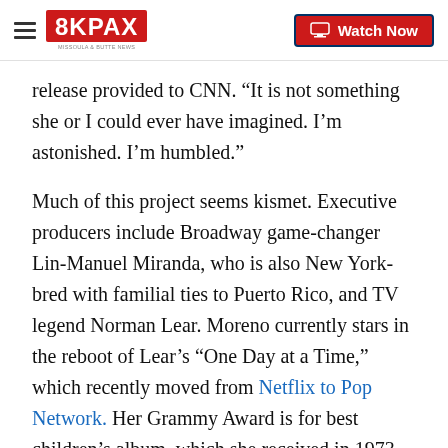8KPAX | Watch Now
release provided to CNN. “It is not something she or I could ever have imagined. I’m astonished. I’m humbled.”
Much of this project seems kismet. Executive producers include Broadway game-changer Lin-Manuel Miranda, who is also New York-bred with familial ties to Puerto Rico, and TV legend Norman Lear. Moreno currently stars in the reboot of Lear’s “One Day at a Time,” which recently moved from Netflix to Pop Network. Her Grammy Award is for best children’s album, which she received in 1973 as part of the cast of the PBS series “The Electric Company.”